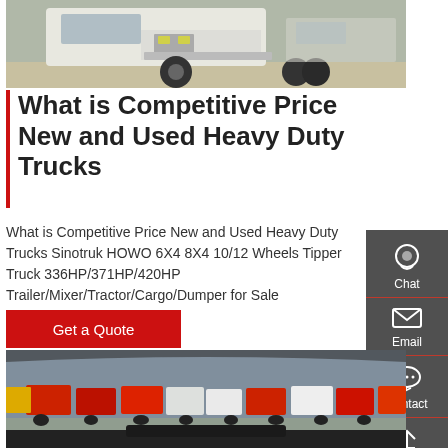[Figure (photo): White heavy-duty truck/tractor (Sinotruk HOWO) parked in a lot, front-side view showing cab and wheels]
What is Competitive Price New and Used Heavy Duty Trucks
What is Competitive Price New and Used Heavy Duty Trucks Sinotruk HOWO 6X4 8X4 10/12 Wheels Tipper Truck 336HP/371HP/420HP Trailer/Mixer/Tractor/Cargo/Dumper for Sale
Get a Quote
[Figure (photo): View through a truck windshield of a large yard filled with rows of colorful (red, white, yellow) heavy-duty trucks]